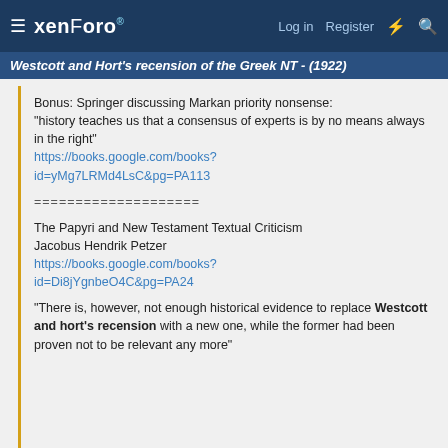xenForo — Log in  Register
Westcott and Hort's recension of the Greek NT - (1922)
Bonus: Springer discussing Markan priority nonsense: "history teaches us that a consensus of experts is by no means always in the right" https://books.google.com/books?id=yMg7LRMd4LsC&pg=PA113
====================
The Papyri and New Testament Textual Criticism
Jacobus Hendrik Petzer
https://books.google.com/books?id=Di8jYgnbeO4C&pg=PA24
"There is, however, not enough historical evidence to replace Westcott and hort's recension with a new one, while the former had been proven not to be relevant any more"